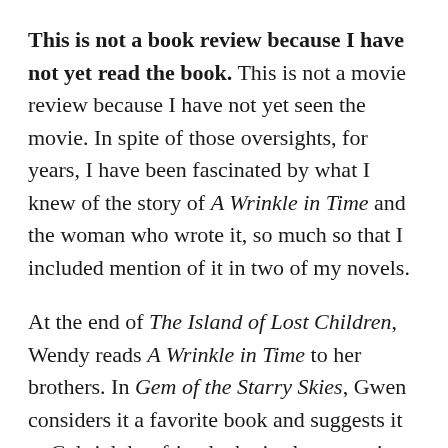This is not a book review because I have not yet read the book. This is not a movie review because I have not yet seen the movie. In spite of those oversights, for years, I have been fascinated by what I knew of the story of A Wrinkle in Time and the woman who wrote it, so much so that I included mention of it in two of my novels.
At the end of The Island of Lost Children, Wendy reads A Wrinkle in Time to her brothers. In Gem of the Starry Skies, Gwen considers it a favorite book and suggests it to Gabriel, her friend who is also a comic book creator. I was awed by the visually stunning trailers for Ava DuVernay's film version and excited to hear that one of my favorite directors